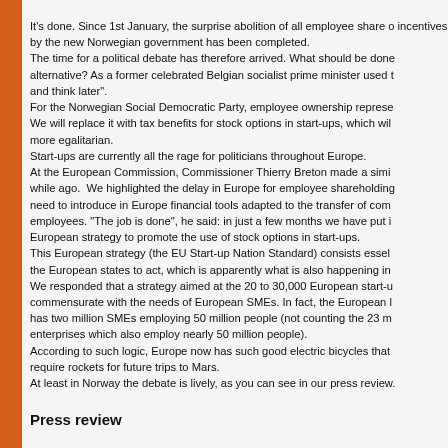It's done. Since 1st January, the surprise abolition of all employee share options incentives by the new Norwegian government has been completed. The time for a political debate has therefore arrived. What should be done as an alternative? As a former celebrated Belgian socialist prime minister used to say: "act and think later". For the Norwegian Social Democratic Party, employee ownership represents a risk. We will replace it with tax benefits for stock options in start-ups, which will be more egalitarian. Start-ups are currently all the rage for politicians throughout Europe. At the European Commission, Commissioner Thierry Breton made a similar statement a while ago. We highlighted the delay in Europe for employee shareholding and the need to introduce in Europe financial tools adapted to the transfer of companies to employees. "The job is done", he said: in just a few months we have put in place a European strategy to promote the use of stock options in start-ups. This European strategy (the EU Start-up Nation Standard) consists essentially of getting the European states to act, which is apparently what is also happening in Norway. We responded that a strategy aimed at the 20 to 30,000 European start-ups is not commensurate with the needs of European SMEs. In fact, the European Union has two million SMEs employing 50 million people (not counting the 23 million micro-enterprises which also employ nearly 50 million people). According to such logic, Europe now has such good electric bicycles that we no longer require rockets for future trips to Mars. At least in Norway the debate is lively, as you can see in our press review.
Press review